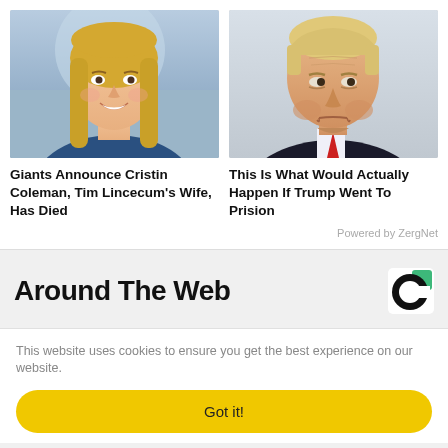[Figure (photo): Portrait photo of a smiling blonde woman (left card)]
[Figure (photo): Close-up photo of Donald Trump looking serious (right card)]
Giants Announce Cristin Coleman, Tim Lincecum's Wife, Has Died
This Is What Would Actually Happen If Trump Went To Prision
Powered by ZergNet
Around The Web
[Figure (logo): Taboola logo - circular C shape in green and black]
This website uses cookies to ensure you get the best experience on our website.
Got it!